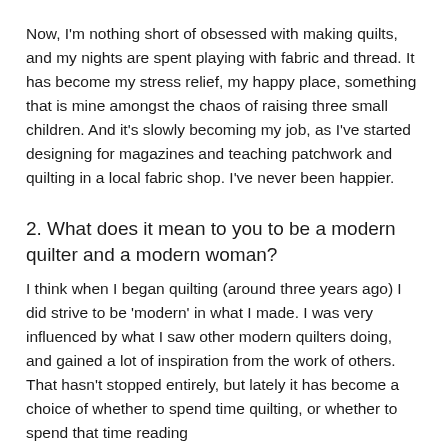Now, I'm nothing short of obsessed with making quilts, and my nights are spent playing with fabric and thread. It has become my stress relief, my happy place, something that is mine amongst the chaos of raising three small children. And it's slowly becoming my job, as I've started designing for magazines and teaching patchwork and quilting in a local fabric shop. I've never been happier.
2. What does it mean to you to be a modern quilter and a modern woman?
I think when I began quilting (around three years ago) I did strive to be 'modern' in what I made. I was very influenced by what I saw other modern quilters doing, and gained a lot of inspiration from the work of others. That hasn't stopped entirely, but lately it has become a choice of whether to spend time quilting, or whether to spend that time reading...